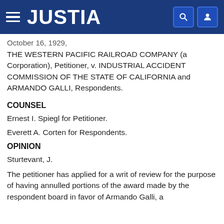[Figure (screenshot): Justia website header bar with hamburger menu icon, JUSTIA logo in white on dark blue background, and search/user icons on the right]
October 16, 1929,
THE WESTERN PACIFIC RAILROAD COMPANY (a Corporation), Petitioner, v. INDUSTRIAL ACCIDENT COMMISSION OF THE STATE OF CALIFORNIA and ARMANDO GALLI, Respondents.
COUNSEL
Ernest I. Spiegl for Petitioner.
Everett A. Corten for Respondents.
OPINION
Sturtevant, J.
The petitioner has applied for a writ of review for the purpose of having annulled portions of the award made by the respondent board in favor of Armando Galli, a